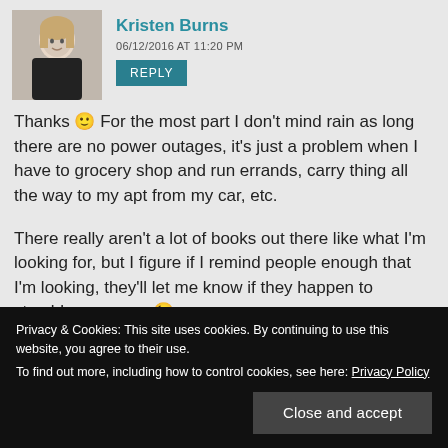Kristen Burns
06/12/2016 AT 11:20 PM
REPLY
Thanks 🙂 For the most part I don't mind rain as long there are no power outages, it's just a problem when I have to grocery shop and run errands, carry thing all the way to my apt from my car, etc.
There really aren't a lot of books out there like what I'm looking for, but I figure if I remind people enough that I'm looking, they'll let me know if they happen to stumble upon any 😉
Privacy & Cookies: This site uses cookies. By continuing to use this website, you agree to their use. To find out more, including how to control cookies, see here: Privacy Policy
Close and accept